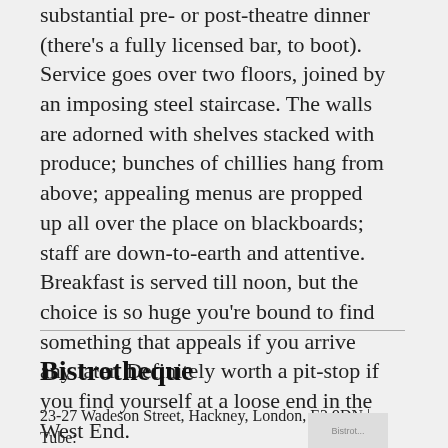substantial pre- or post-theatre dinner (there's a fully licensed bar, to boot). Service goes over two floors, joined by an imposing steel staircase. The walls are adorned with shelves stacked with produce; bunches of chillies hang from above; appealing menus are propped up all over the place on blackboards; staff are down-to-earth and attentive. Breakfast is served till noon, but the choice is so huge you're bound to find something that appeals if you arrive any later. Definitely worth a pit-stop if you find yourself at a loose end in the West End.
Bistrotheque
23-27 Wadeson Street, Hackney, London, E2 9DN | Tube: Bethnal Green Underground Station
[Figure (photo): Partial image/logo of Bistrotheque, cropped at bottom right]